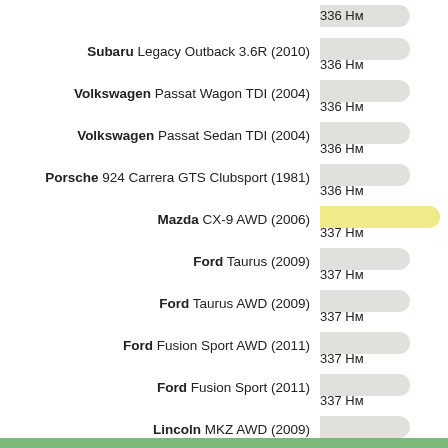336 Нм (top partial row)
Subaru Legacy Outback 3.6R (2010) — 336 Нм
Volkswagen Passat Wagon TDI (2004) — 336 Нм
Volkswagen Passat Sedan TDI (2004) — 336 Нм
Porsche 924 Carrera GTS Clubsport (1981) — 336 Нм
Mazda CX-9 AWD (2006) — 337 Нм
Ford Taurus (2009) — 337 Нм
Ford Taurus AWD (2009) — 337 Нм
Ford Fusion Sport AWD (2011) — 337 Нм
Ford Fusion Sport (2011) — 337 Нм
Lincoln MKZ AWD (2009) — 337 Нм